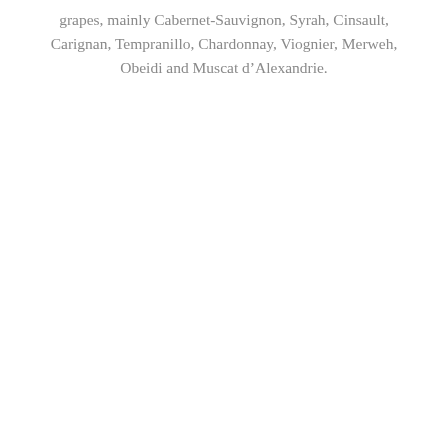grapes, mainly Cabernet-Sauvignon, Syrah, Cinsault, Carignan, Tempranillo, Chardonnay, Viognier, Merweh, Obeidi and Muscat d’Alexandrie.